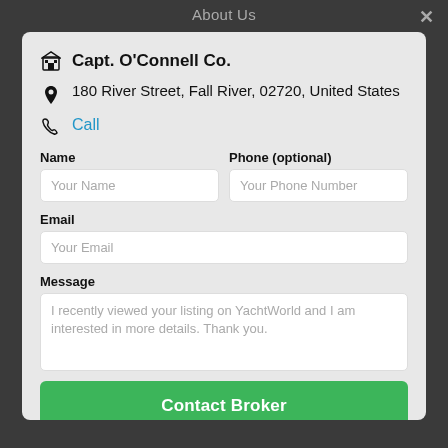About Us
Capt. O'Connell Co.
180 River Street, Fall River, 02720, United States
Call
Name
Your Name
Phone (optional)
Your Phone Number
Email
Your Email
Message
I recently viewed your listing on YachtWorld and I am interested in more details. Thank you.
Contact Broker